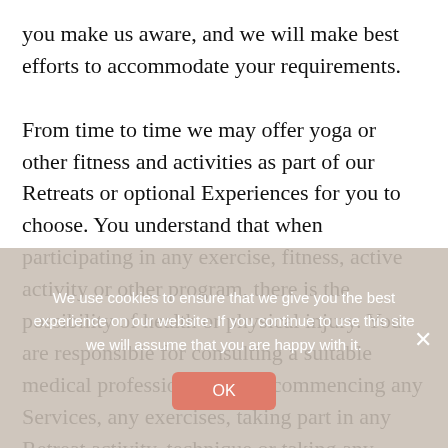you make us aware, and we will make best efforts to accommodate your requirements.

From time to time we may offer yoga or other fitness and activities as part of our Retreats or optional Experiences for you to choose. You understand that when participating in any exercise, fitness, active activity or other program, there is the possibility of health or physical injury. You are responsible for consulting a suitable medical professional before commencing any Services, any exercises, taking part in any Retreat activity, technique or taking any course of
We use cookies to ensure that we give you the best experience on our website. If you continue to use this site we will assume that you are happy with it.